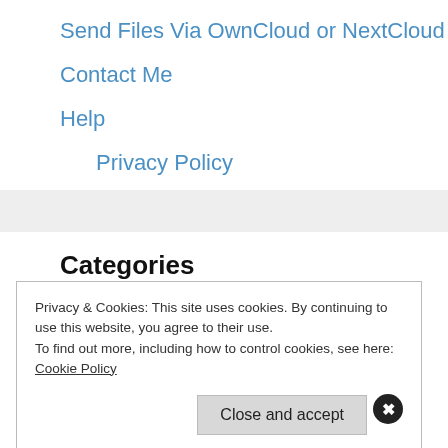Send Files Via OwnCloud or NextCloud
Contact Me
Help
Privacy Policy
Categories
Privacy & Cookies: This site uses cookies. By continuing to use this website, you agree to their use.
To find out more, including how to control cookies, see here:
Cookie Policy
Close and accept
T                                                                    n
The Google Play Store